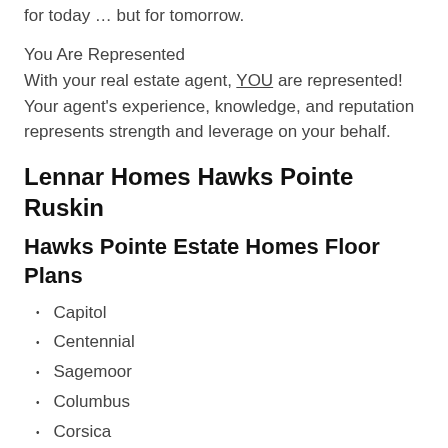for today … but for tomorrow.
You Are Represented
With your real estate agent, YOU are represented! Your agent's experience, knowledge, and reputation represents strength and leverage on your behalf.
Lennar Homes Hawks Pointe Ruskin
Hawks Pointe Estate Homes Floor Plans
Capitol
Centennial
Sagemoor
Columbus
Corsica
Freedom
Hamilton
Harrington